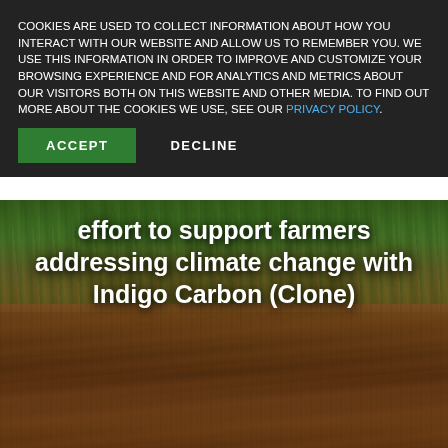COOKIES ARE USED TO COLLECT INFORMATION ABOUT HOW YOU INTERACT WITH OUR WEBSITE AND ALLOW US TO REMEMBER YOU. WE USE THIS INFORMATION IN ORDER TO IMPROVE AND CUSTOMIZE YOUR BROWSING EXPERIENCE AND FOR ANALYTICS AND METRICS ABOUT OUR VISITORS BOTH ON THIS WEBSITE AND OTHER MEDIA. TO FIND OUT MORE ABOUT THE COOKIES WE USE, SEE OUR PRIVACY POLICY.
ACCEPT   DECLINE
[Figure (photo): Photograph of farmland with soil and crops visible. Overlay text reads: effort to support farmers addressing climate change with Indigo Carbon (Clone)]
effort to support farmers addressing climate change with Indigo Carbon (Clone)
Share this post:
In a continued display of leadership from the private industry on climate, Indigo has